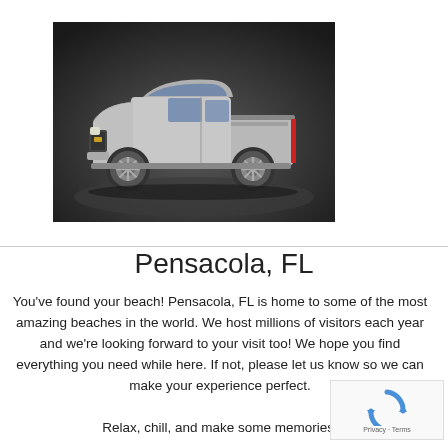[Figure (photo): A silver GMC pickup truck (extended cab) photographed on a dark studio background, shown from the driver's side at a slight angle.]
Pensacola, FL
You've found your beach! Pensacola, FL is home to some of the most amazing beaches in the world. We host millions of visitors each year and we're looking forward to your visit too! We hope you find everything you need while here. If not, please let us know so we can make your experience perfect.

Relax, chill, and make some memories!